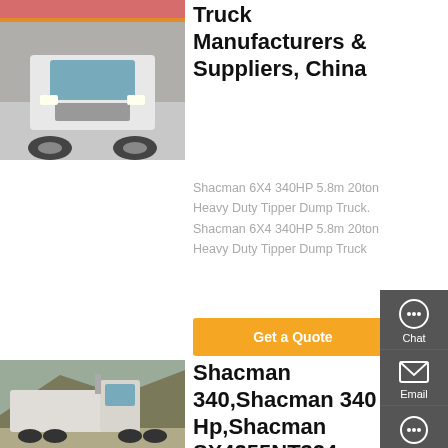[Figure (photo): Front view of a white heavy duty dump truck (Shacman) parked outdoors with Chinese signage in background]
Truck Manufacturers & Suppliers, China
Shacman 6X4 340HP 5.8m 20ton Heavy Duty Tipper Dump Truck. Shacman 6X4 340HP 5.8m 20ton Heavy Duty Tipper Dump Truck
Get a Quote
[Figure (photo): Side rear view of a white Shacman tractor truck parked in a lot with hills in background]
Shacman 340,Shacman 340 Hp,Shacman SX4255NT324